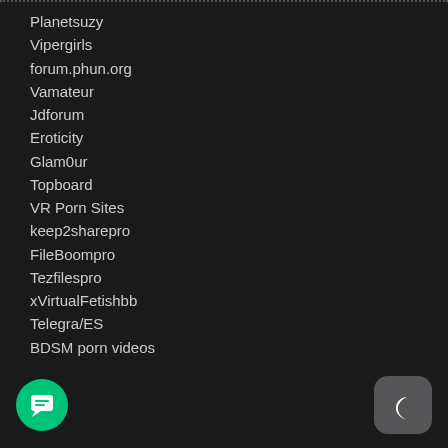Planetsuzy
Vipergirls
forum.phun.org
Vamateur
Jdforum
Eroticity
Glam0ur
Topboard
VR Porn Sites
keep2sharepro
FileBoompro
Tezfilespro
xVirtualFetishbb
Telegra/ES
BDSM porn videos